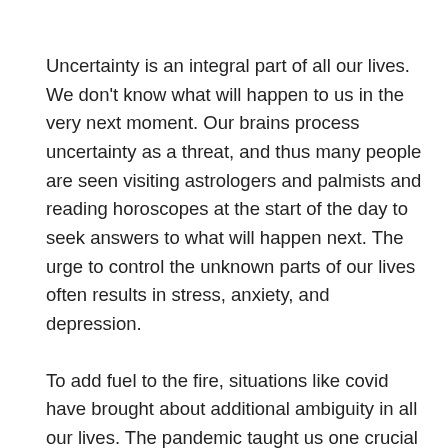Uncertainty is an integral part of all our lives. We don't know what will happen to us in the very next moment. Our brains process uncertainty as a threat, and thus many people are seen visiting astrologers and palmists and reading horoscopes at the start of the day to seek answers to what will happen next. The urge to control the unknown parts of our lives often results in stress, anxiety, and depression.
To add fuel to the fire, situations like covid have brought about additional ambiguity in all our lives. The pandemic taught us one crucial lesson that uncertainty is the only sure thing in our lives.
One thing is for sure; we will never be able to control the future. So the million-dollar question is what to do to cope with all this uncertainty in our lives? Here we present to you ten strategies to...